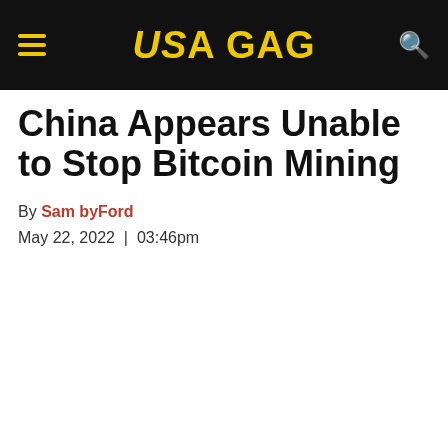USA GAG
China Appears Unable to Stop Bitcoin Mining
By Sam byFord
May 22, 2022  |  03:46pm